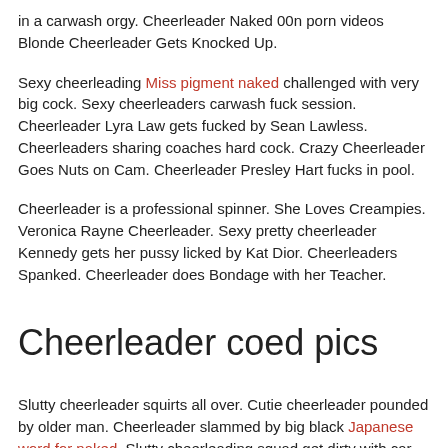in a carwash orgy. Cheerleader Naked 00n porn videos Blonde Cheerleader Gets Knocked Up.
Sexy cheerleading Miss pigment naked challenged with very big cock. Sexy cheerleaders carwash fuck session. Cheerleader Lyra Law gets fucked by Sean Lawless. Cheerleaders sharing coaches hard cock. Crazy Cheerleader Goes Nuts on Cam. Cheerleader Presley Hart fucks in pool.
Cheerleader is a professional spinner. She Loves Creampies. Veronica Rayne Cheerleader. Sexy pretty cheerleader Kennedy gets her pussy licked by Kat Dior. Cheerleaders Spanked. Cheerleader does Bondage with her Teacher.
Cheerleader coed pics
Slutty cheerleader squirts all over. Cutie cheerleader pounded by older man. Cheerleader slammed by big black Japanese word for naked. Slutty cheerleading squad get dirty with car wash customer. Sexy Japanese Cheerleaders being fucked in